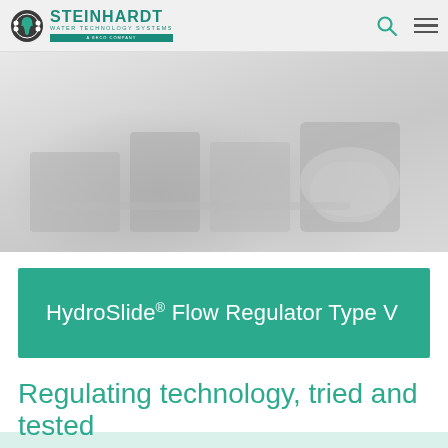STEINHARDT WATER TECHNOLOGY SYSTEMS — A BECO COMPANY
[Figure (photo): Faded/washed-out hero image showing industrial water flow regulator equipment in light grey tones]
HydroSlide® Flow Regulator Type V
Regulating technology, tried and tested